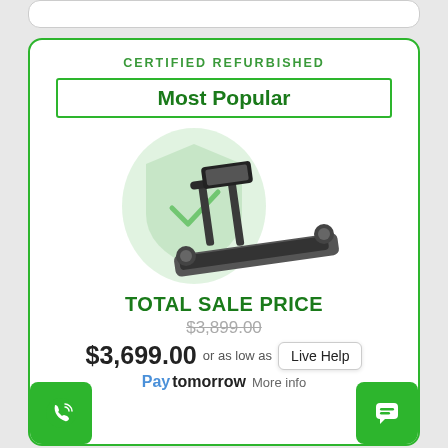CERTIFIED REFURBISHED
Most Popular
[Figure (photo): A treadmill (certified refurbished) with a green shield/badge watermark overlay in the background]
TOTAL SALE PRICE
$3,899.00 (original price, crossed out)
$3,699.00  or as low as
Live Help
Paytomorrow  More info